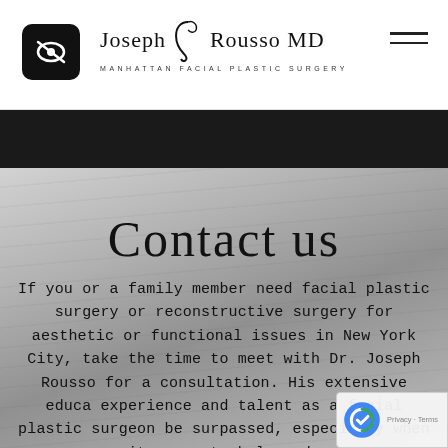[Figure (logo): Joseph J Rousso MD Manhattan Facial Plastic Surgery logo with stylized J]
[Figure (other): Black accessibility button with eye/vision icon]
[Figure (other): Hamburger menu icon with three horizontal lines]
[Figure (photo): Grayscale close-up photo of a face used as hero background image]
Contact us
If you or a family member need facial plastic surgery or reconstructive surgery for aesthetic or functional issues in New York City, take the time to meet with Dr. Joseph Rousso for a consultation. His extensive educa experience and talent as a facial plastic surgeon be surpassed, especially when it comes to balanced,
[Figure (other): Google reCAPTCHA badge with Privacy and Terms links]